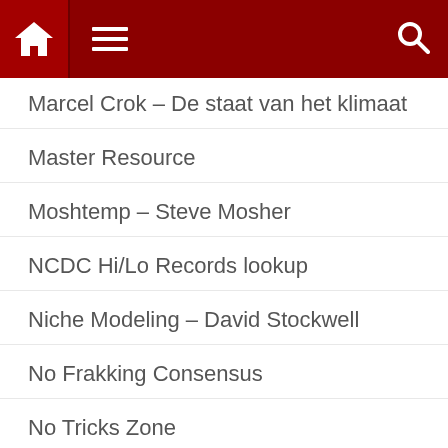Navigation bar with home, menu, and search icons
Marcel Crok – De staat van het klimaat
Master Resource
Moshtemp – Steve Mosher
NCDC Hi/Lo Records lookup
Niche Modeling – David Stockwell
No Frakking Consensus
No Tricks Zone
NYT Dot Earth – Revkin
We use cookies to ensure that we give you the best experience on WUWT. If you continue to use this site we will assume that you are happy with it. This notice is required by recently enacted EU GDPR rules, and since WUWT is a globally read website, we need to keep the bureaucrats off our case! Cookie Policy
Skeptical Science – John Cook